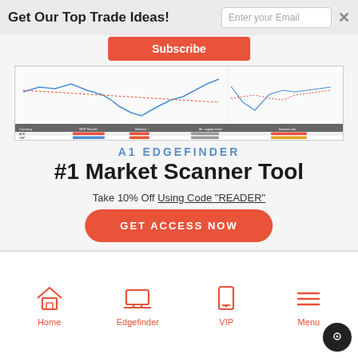Get Our Top Trade Ideas!
Enter your Email
Subscribe
[Figure (screenshot): Screenshot of A1 Edgefinder market scanner tool showing line charts and a data table with currency pairs, GDP growth, inflation, and interest rate columns with colored indicators.]
A1 EDGEFINDER
#1 Market Scanner Tool
Take 10% Off Using Code "READER"
GET ACCESS NOW
Home
Edgefinder
VIP
Menu